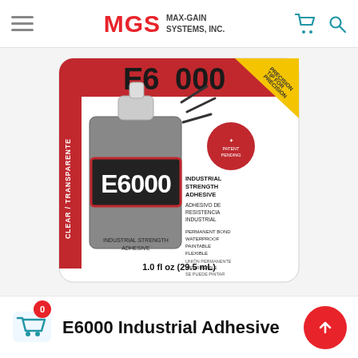MGS MAX-GAIN SYSTEMS, INC.
[Figure (photo): E6000 Industrial Strength Adhesive tube product packaging, 1.0 fl oz (29.5 mL), clear/transparente, on a white blister card with red and gray design]
E6000 Industrial Adhesive